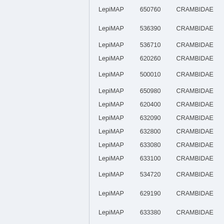| Source | ID | Family |
| --- | --- | --- |
| LepiMAP | 650760 | CRAMBIDAE |
| LepiMAP | 536390 | CRAMBIDAE |
| LepiMAP | 536710 | CRAMBIDAE |
| LepiMAP | 620260 | CRAMBIDAE |
| LepiMAP | 500010 | CRAMBIDAE |
| LepiMAP | 650980 | CRAMBIDAE |
| LepiMAP | 620400 | CRAMBIDAE |
| LepiMAP | 632090 | CRAMBIDAE |
| LepiMAP | 632800 | CRAMBIDAE |
| LepiMAP | 633080 | CRAMBIDAE |
| LepiMAP | 633100 | CRAMBIDAE |
| LepiMAP | 534720 | CRAMBIDAE |
| LepiMAP | 629190 | CRAMBIDAE |
| LepiMAP | 633380 | CRAMBIDAE |